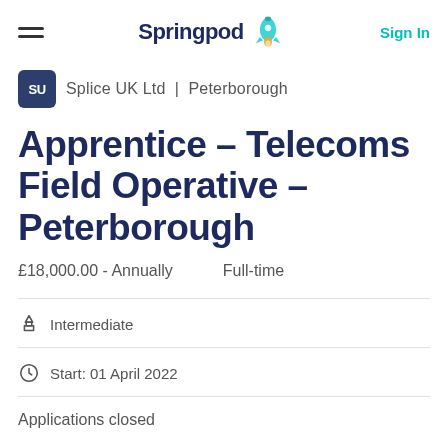Springpod | Sign In
Splice UK Ltd | Peterborough
Apprentice – Telecoms Field Operative – Peterborough
£18,000.00 - Annually    Full-time
Intermediate
Start: 01 April 2022
Applications closed